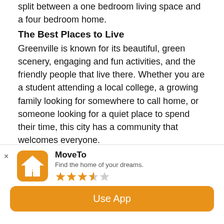split between a one bedroom living space and a four bedroom home.
The Best Places to Live
Greenville is known for its beautiful, green scenery, engaging and fun activities, and the friendly people that live there. Whether you are a student attending a local college, a growing family looking for somewhere to call home, or someone looking for a quiet place to spend their time, this city has a community that welcomes everyone.
Botany Woods
Botany Woods is a community where young families can grow and is often considered one of the best places to live in the city. Filled with family-friendly activities like community pool, sports fields, and a local playground. The community of Botany Woods is protected by security staff
[Figure (screenshot): App banner for MoveTo app with orange house/search icon, app name MoveTo, tagline 'Find the home of your dreams.', 3.5 star rating, and orange Use App button]